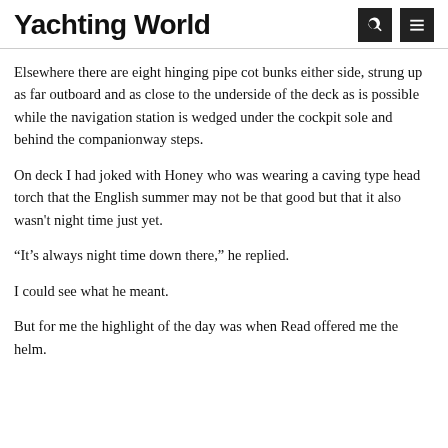Yachting World
Elsewhere there are eight hinging pipe cot bunks either side, strung up as far outboard and as close to the underside of the deck as is possible while the navigation station is wedged under the cockpit sole and behind the companionway steps.
On deck I had joked with Honey who was wearing a caving type head torch that the English summer may not be that good but that it also wasn't night time just yet.
“It’s always night time down there,” he replied.
I could see what he meant.
But for me the highlight of the day was when Read offered me the helm.